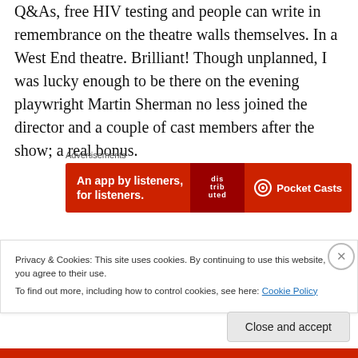Q&As, free HIV testing and people can write in remembrance on the theatre walls themselves. In a West End theatre. Brilliant! Though unplanned, I was lucky enough to be there on the evening playwright Martin Sherman no less joined the director and a couple of cast members after the show; a real bonus.
[Figure (other): Pocket Casts advertisement banner: red background with text 'An app by listeners, for listeners.' and Pocket Casts logo on right, stylized podcast cover image in center.]
I can't compare this revival with the original London
Privacy & Cookies: This site uses cookies. By continuing to use this website, you agree to their use. To find out more, including how to control cookies, see here: Cookie Policy